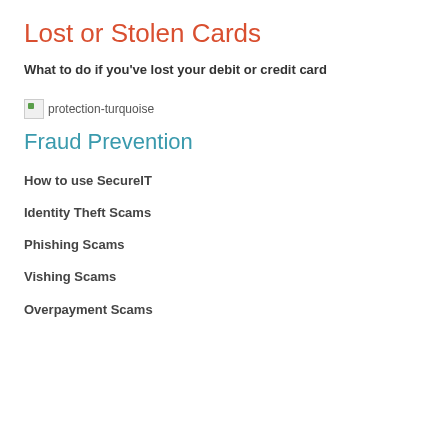Lost or Stolen Cards
What to do if you've lost your debit or credit card
[Figure (illustration): Broken image placeholder labeled 'protection-turquoise']
Fraud Prevention
How to use SecureIT
Identity Theft Scams
Phishing Scams
Vishing Scams
Overpayment Scams